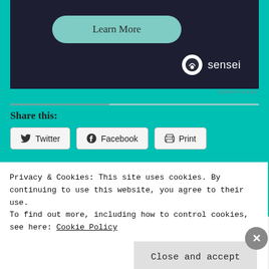[Figure (screenshot): Dark background advertisement area with a teal 'Learn More' rounded button and Sensei logo (cloud/tree icon) in white on lower right]
REPORT THIS AD
Share this:
[Figure (screenshot): Three share buttons: Twitter (bird icon), Facebook (f icon), Print (printer icon)]
Privacy & Cookies: This site uses cookies. By continuing to use this website, you agree to their use.
To find out more, including how to control cookies, see here: Cookie Policy
Close and accept
[Figure (screenshot): Bottom banner ad for Pocket Casts podcast app with colorful app icon squares on left, text 'The go-to app for podcast lovers.' and Pocket Casts logo]
REPORT THIS AD